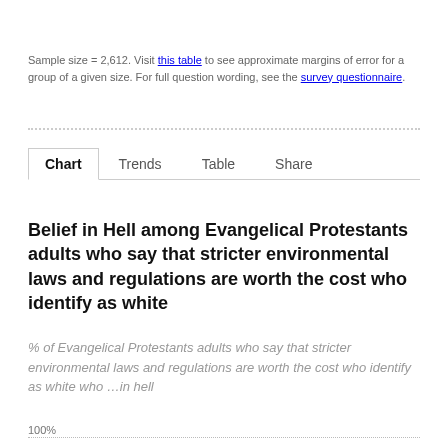Sample size = 2,612. Visit this table to see approximate margins of error for a group of a given size. For full question wording, see the survey questionnaire.
Chart  Trends  Table  Share
Belief in Hell among Evangelical Protestants adults who say that stricter environmental laws and regulations are worth the cost who identify as white
% of Evangelical Protestants adults who say that stricter environmental laws and regulations are worth the cost who identify as white who ...in hell
100%